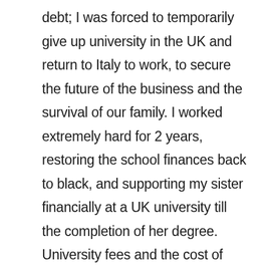debt; I was forced to temporarily give up university in the UK and return to Italy to work, to secure the future of the business and the survival of our family. I worked extremely hard for 2 years, restoring the school finances back to black, and supporting my sister financially at a UK university till the completion of her degree. University fees and the cost of living in the UK were very high compared to Italy because the currency exchange was in our disfavour; it was important for us to gain degrees and employment immediately thereafter, and our hope was to do so in the UK.